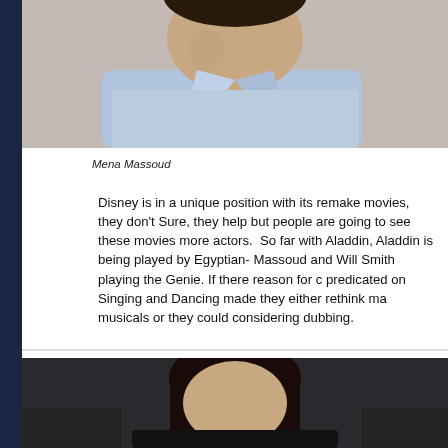[Figure (photo): Portrait photo of Mena Massoud, a young man in a light blue button-up shirt, cropped at upper body, light beige/brown background]
Mena Massoud
Disney is in a unique position with its remake movies, they don't Sure, they help but people are going to see these movies more actors.  So far with Aladdin, Aladdin is being played by Egyptian- Massoud and Will Smith playing the Genie. If there reason for c predicated on Singing and Dancing made they either rethink ma musicals or they could considering dubbing.
[Figure (photo): Portrait photo of a woman with long dark hair against a dark background, cropped at top of frame]